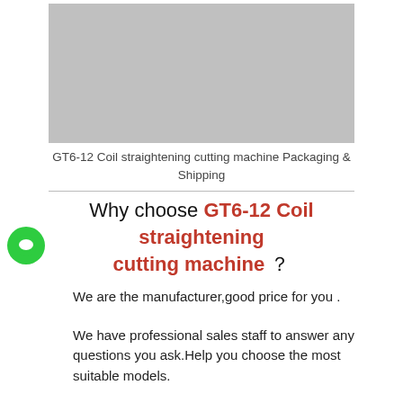[Figure (photo): Gray placeholder image for GT6-12 Coil straightening cutting machine packaging and shipping photo]
GT6-12 Coil straightening cutting machine Packaging & Shipping
Why choose GT6-12 Coil straightening cutting machine ?
We are the manufacturer,good price for you .
We have professional sales staff to answer any questions you ask.Help you choose the most suitable models.
We have professional technicians.Solve any difficult problems about the operation of the machine for whole day.